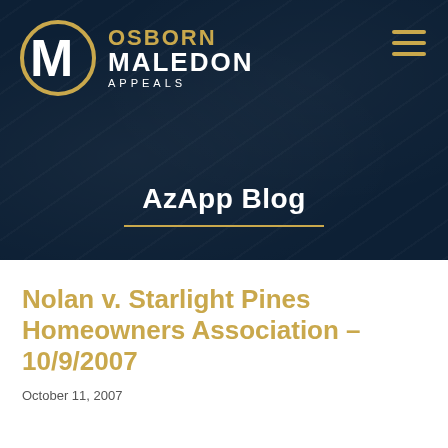[Figure (logo): Osborn Maledon Appeals logo with gold OM circle monogram and text reading OSBORN MALEDON APPEALS on a dark navy background]
AzApp Blog
Nolan v. Starlight Pines Homeowners Association – 10/9/2007
October 11, 2007